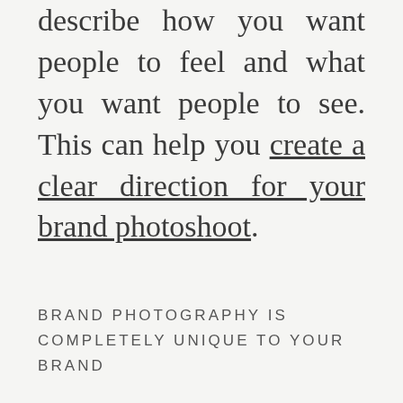describe how you want people to feel and what you want people to see. This can help you create a clear direction for your brand photoshoot.
BRAND PHOTOGRAPHY IS COMPLETELY UNIQUE TO YOUR BRAND
Some companies use free stock photos on websites like Unsplash and